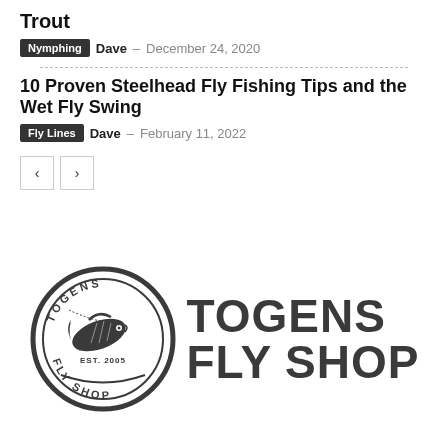Trout
Nymphing  Dave - December 24, 2020
10 Proven Steelhead Fly Fishing Tips and the Wet Fly Swing
Fly Lines  Dave - February 11, 2022
[Figure (logo): Togens Fly Shop logo: circular badge with fish illustration and text TOGENS FLY SHOP EST. 2005, alongside large bold text reading TOGENS FLY SHOP]